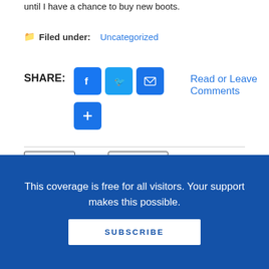until I have a chance to buy new boots.
Filed under: Uncategorized
SHARE: [Facebook] [Twitter] [Email] [+]  Read or Leave Comments
book list
snow days
About Esther Keller
This coverage is free for all visitors. Your support makes this possible.
SUBSCRIBE